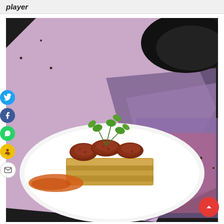player
[Figure (photo): A plated dish featuring spiced meat pieces garnished with fresh cilantro on top of a rectangular golden pastry/bread, with an orange sauce on the side, served on a white plate. Background shows a dark surface with a colorful magazine and a black hat/pan.]